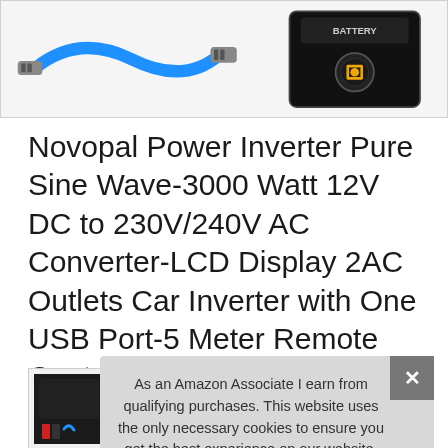[Figure (photo): Product image showing a blue ethernet/network cable and a black electronic panel/control device with BATTERY label and power button]
Novopal Power Inverter Pure Sine Wave-3000 Watt 12V DC to 230V/240V AC Converter-LCD Display 2AC Outlets Car Inverter with One USB Port-5 Meter Remote Control And Two Cooling Fans-Peak Power 6000 Watt
[Figure (photo): Small product thumbnail image showing the inverter with accessories]
As an Amazon Associate I earn from qualifying purchases. This website uses the only necessary cookies to ensure you get the best experience on our website. More information